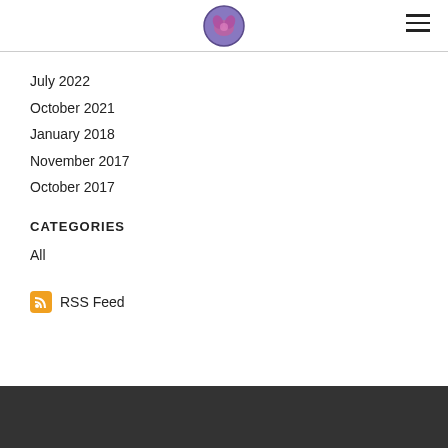July 2022
October 2021
January 2018
November 2017
October 2017
CATEGORIES
All
RSS Feed